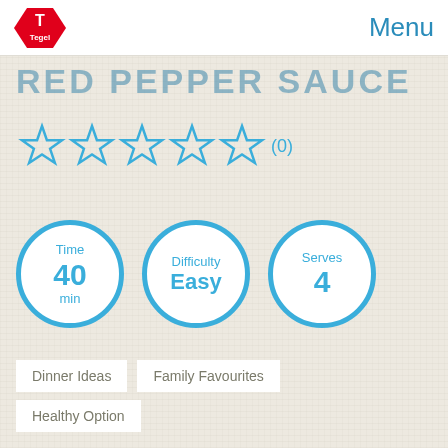Menu
RED PEPPER SAUCE
[Figure (other): Five empty star rating icons in blue outline, showing 0 reviews. Text: (0)]
[Figure (infographic): Three circular info badges: Time 40 min, Difficulty Easy, Serves 4]
Dinner Ideas
Family Favourites
Healthy Option